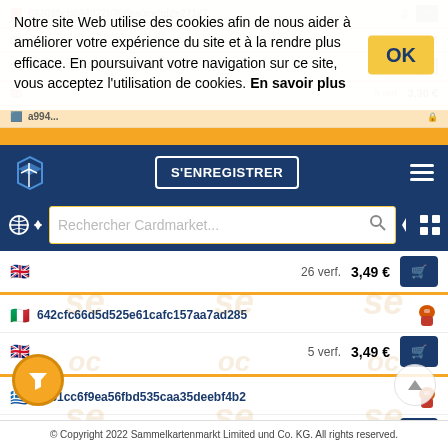Notre site Web utilise des cookies afin de nous aider à améliorer votre expérience du site et à la rendre plus efficace. En poursuivant votre navigation sur ce site, vous acceptez l'utilisation de cookies. En savoir plus
S'ENREGISTRER
Rechercher Cardmarket...
26 verf.  3,49 €
642cfc66d5d525e61cafc157aa7ad285
5 verf.  3,49 €
0781cc6f9ea56fbd535caa35deebf4b2
1 verf.  3,50 €
© Copyright 2022 Sammelkartenmarkt Limited und Co. KG. All rights reserved.